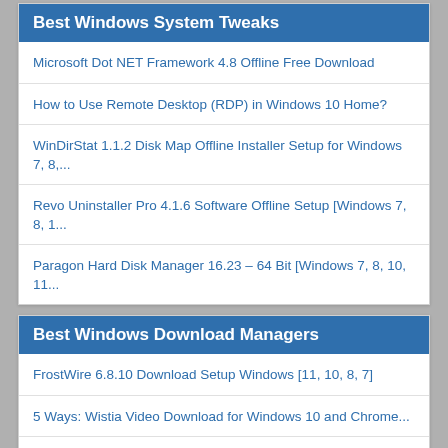Best Windows System Tweaks
Microsoft Dot NET Framework 4.8 Offline Free Download
How to Use Remote Desktop (RDP) in Windows 10 Home?
WinDirStat 1.1.2 Disk Map Offline Installer Setup for Windows 7, 8,...
Revo Uninstaller Pro 4.1.6 Software Offline Setup [Windows 7, 8, 1...
Paragon Hard Disk Manager 16.23 – 64 Bit [Windows 7, 8, 10, 11...
Best Windows Download Managers
FrostWire 6.8.10 Download Setup Windows [11, 10, 8, 7]
5 Ways: Wistia Video Download for Windows 10 and Chrome...
Download Tixati 2.67 BitTorrent Client 64+32 Bit Offline Setup |...
Top 5 Best Chrome Video Downloader Extensions & Apps Download
Internet Download Manager IDM Offline Installer 6.36 [Windows 7, ...